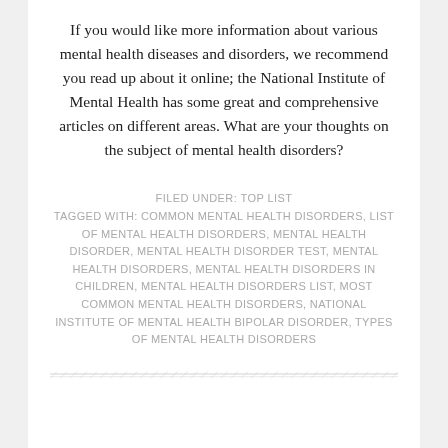If you would like more information about various mental health diseases and disorders, we recommend you read up about it online; the National Institute of Mental Health has some great and comprehensive articles on different areas. What are your thoughts on the subject of mental health disorders?
FILED UNDER: TOP LIST
TAGGED WITH: COMMON MENTAL HEALTH DISORDERS, LIST OF MENTAL HEALTH DISORDERS, MENTAL HEALTH DISORDER, MENTAL HEALTH DISORDER TEST, MENTAL HEALTH DISORDERS, MENTAL HEALTH DISORDERS IN CHILDREN, MENTAL HEALTH DISORDERS LIST, MOST COMMON MENTAL HEALTH DISORDERS, NATIONAL INSTITUTE OF MENTAL HEALTH BIPOLAR DISORDER, TYPES OF MENTAL HEALTH DISORDERS